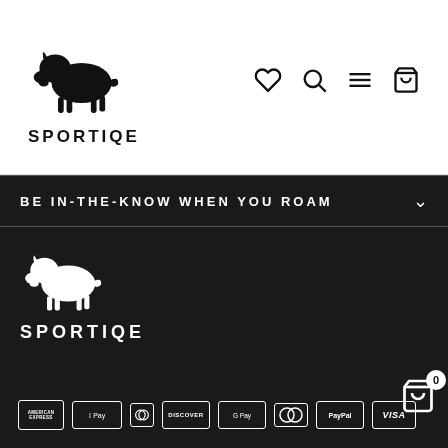[Figure (logo): Sportiqe bison logo (black silhouette on white) with SPORTIQE text below]
[Figure (infographic): Navigation icons: heart (wishlist), magnifier (search), hamburger menu, shopping cart]
BE IN-THE-KNOW WHEN YOU ROAM
[Figure (logo): Sportiqe bison logo (white silhouette on dark background) with SPORTIQE text below]
[Figure (infographic): Payment method icons: American Express, Apple Pay, Diners Club, Discover, Google Pay, Mastercard, PayPal, Visa]
[Figure (infographic): Shopping cart icon with 0 badge counter]